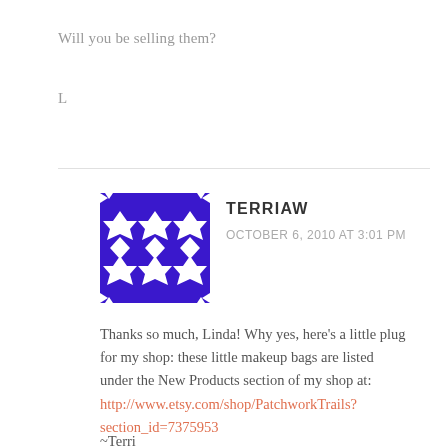Will you be selling them?
L
[Figure (illustration): Blue and white geometric patchwork quilt pattern avatar image for user TerriW]
TERRIAW
OCTOBER 6, 2010 AT 3:01 PM
Thanks so much, Linda! Why yes, here’s a little plug for my shop: these little makeup bags are listed under the New Products section of my shop at: http://www.etsy.com/shop/PatchworkTrails?section_id=7375953
~Terri